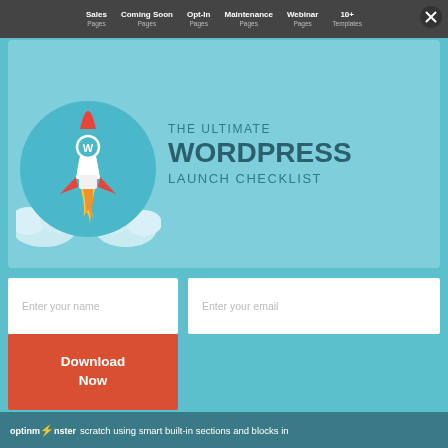Sales Pages | Coming Soon Pages | Opt-In Pages | Maintenance Pages | Webinar Pages | 10+ Templates
[Figure (illustration): Popup modal with rocket ship WordPress logo illustration on teal background, with title text: THE ULTIMATE WORDPRESS LAUNCH CHECKLIST]
THE ULTIMATE WORDPRESS LAUNCH CHECKLIST
Enter your name
Enter your email
Download Now
optinmonster scratch using smart built-in sections and blocks in